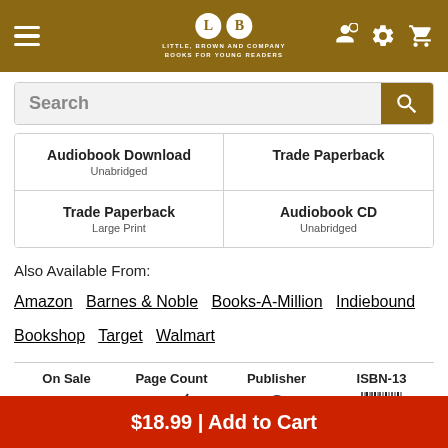[Figure (logo): Little, Brown and Company Books for Young Readers logo with hamburger menu, LB circles, settings and cart icons on brown header]
[Figure (screenshot): Search bar with bold Search placeholder text and brown search button]
| Audiobook Download Unabridged | Trade Paperback | Trade Paperback Large Print | Audiobook CD Unabridged |
| --- | --- | --- | --- |
Also Available From:
Amazon  Barnes & Noble  Books-A-Million  Indiebound  Bookshop  Target  Walmart
| On Sale | Page Count | Publisher | ISBN-13 |
| --- | --- | --- | --- |
|   |   |   |   |
$18.99 | Add to Cart